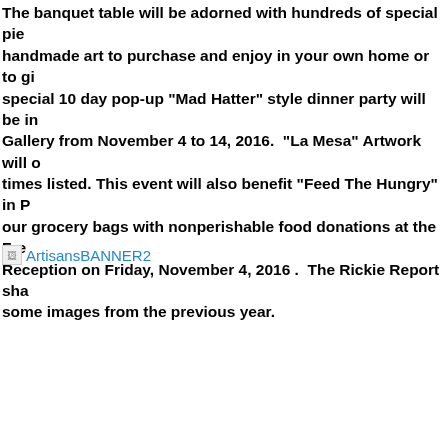The banquet table will be adorned with hundreds of special pieces of handmade art to purchase and enjoy in your own home or to give as gifts. A special 10 day pop-up "Mad Hatter" style dinner party will be in the Colonnade Gallery from November 4 to 14, 2016.  "La Mesa" Artwork will only be sold at the times listed. This event will also benefit "Feed The Hungry" in Palm Springs. Fill our grocery bags with nonperishable food donations at the Free Artist Reception on Friday, November 4, 2016 .  The Rickie Report shares some images from the previous year.
[Figure (other): Broken image placeholder followed by link text 'ArtisansBANNER2']